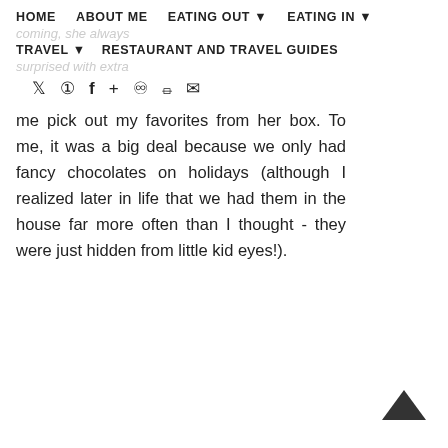HOME    ABOUT ME    EATING OUT ▾    EATING IN ▾
coming, she always
TRAVEL ▾    RESTAURANT AND TRAVEL GUIDES
surprised with extra
Social icons: twitter, instagram, facebook, plus, pinterest, rss, email
me pick out my favorites from her box. To me, it was a big deal because we only had fancy chocolates on holidays (although I realized later in life that we had them in the house far more often than I thought - they were just hidden from little kid eyes!).